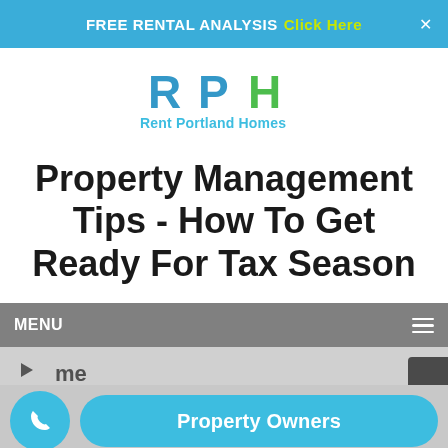FREE RENTAL ANALYSIS  Click Here  ×
[Figure (logo): RPH Rent Portland Homes logo — blue and green letters RPH above text 'Rent Portland Homes' in teal/green]
Property Management Tips - How To Get Ready For Tax Season
MENU ☰
[Figure (screenshot): Partial video thumbnail with play button, phone call button (blue circle with phone icon), and 'Property Owners' CTA button in cyan/blue]